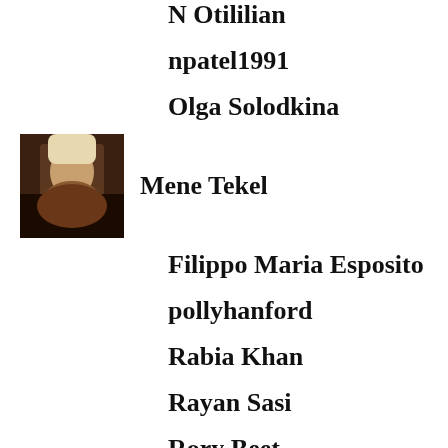N Otililian
npatel1991
Olga Solodkina
Mene Tekel
Filippo Maria Esposito
pollyhanford
Rabia Khan
Rayan Sasi
Rory Beet
rubenafonso97